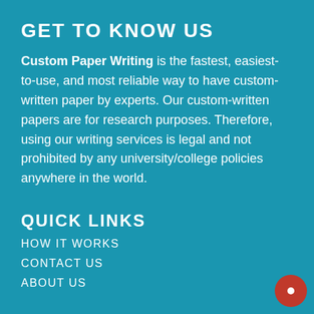GET TO KNOW US
Custom Paper Writing is the fastest, easiest-to-use, and most reliable way to have custom-written paper by experts. Our custom-written papers are for research purposes. Therefore, using our writing services is legal and not prohibited by any university/college policies anywhere in the world.
QUICK LINKS
HOW IT WORKS
CONTACT US
ABOUT US